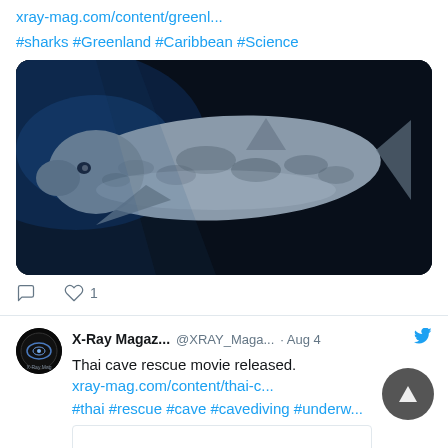xray-mag.com/content/greenl...
#sharks #Greenland #Caribbean #Science
[Figure (photo): Underwater photo of a Greenland shark swimming in dark blue water, viewed from above/side angle. The shark has a pale, mottled body with distinctive markings.]
1 like
X-Ray Magaz... @XRAY_Maga... · Aug 4
Thai cave rescue movie released.
xray-mag.com/content/thai-c...
#thai #rescue #cave #cavediving #underw...